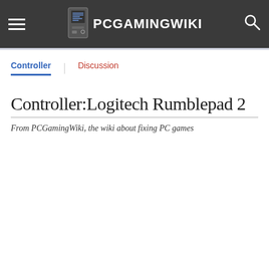PCGamingWiki
Controller | Discussion
Controller:Logitech Rumblepad 2
From PCGamingWiki, the wiki about fixing PC games